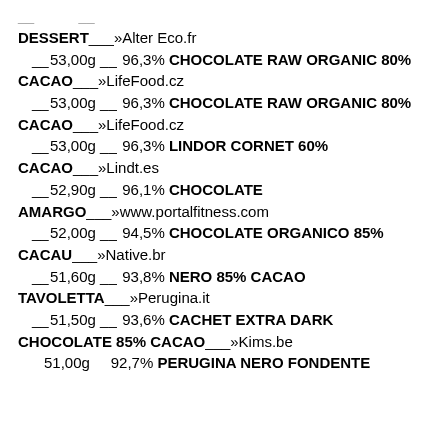DESSERT___»Alter Eco.fr
__53,00g __ 96,3% CHOCOLATE RAW ORGANIC 80% CACAO___»LifeFood.cz
__53,00g __ 96,3% CHOCOLATE RAW ORGANIC 80% CACAO___»LifeFood.cz
__53,00g __ 96,3% LINDOR CORNET 60% CACAO___»Lindt.es
__52,90g __ 96,1% CHOCOLATE AMARGO___»www.portalfitness.com
__52,00g __ 94,5% CHOCOLATE ORGANICO 85% CACAU___»Native.br
__51,60g __ 93,8% NERO 85% CACAO TAVOLETTA___»Perugina.it
__51,50g __ 93,6% CACHET EXTRA DARK CHOCOLATE 85% CACAO___»Kims.be
51,00g    92,7% PERUGINA NERO FONDENTE